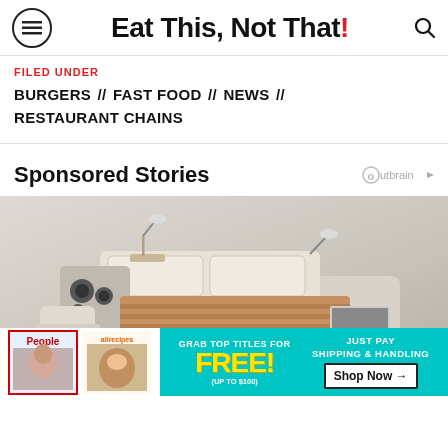Eat This, Not That!
FILED UNDER
BURGERS // FAST FOOD // NEWS // RESTAURANT CHAINS
Sponsored Stories
[Figure (photo): Luxury modular sofa/bed with speakers and accessories, advertisement for a furniture product with a People/allrecipes magazine free offer banner at the bottom.]